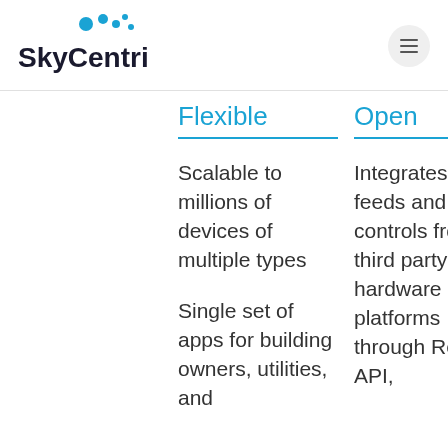[Figure (logo): SkyCentrics logo with blue dots/circles above the text and the company name in dark bold font]
Flexible
Open
Scalable to millions of devices of multiple types
Single set of apps for building owners, utilities, and
Integrates data feeds and controls from third party hardware and platforms through Rest API,